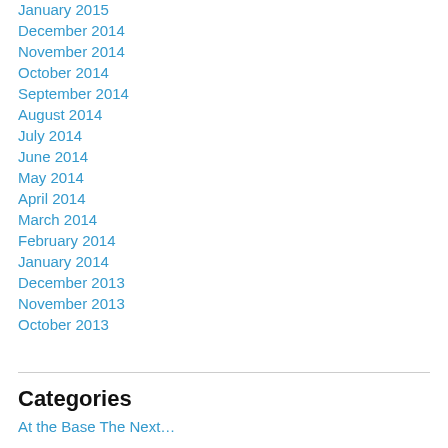January 2015
December 2014
November 2014
October 2014
September 2014
August 2014
July 2014
June 2014
May 2014
April 2014
March 2014
February 2014
January 2014
December 2013
November 2013
October 2013
Categories
At the Base The Next…